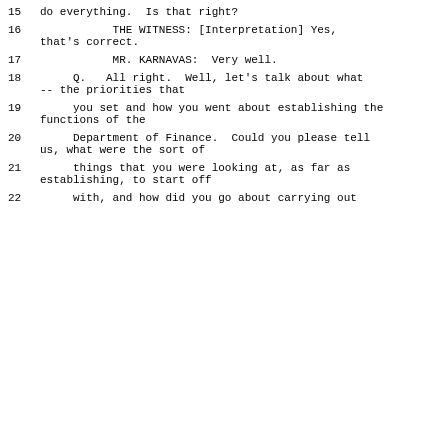15     do everything.  Is that right?
16             THE WITNESS: [Interpretation] Yes, that's correct.
17             MR. KARNAVAS:  Very well.
18       Q.   All right.  Well, let's talk about what -- the priorities that
19      you set and how you went about establishing the functions of the
20      Department of Finance.  Could you please tell us, what were the sort of
21      things that you were looking at, as far as establishing, to start off
22      with, and how did you go about carrying out